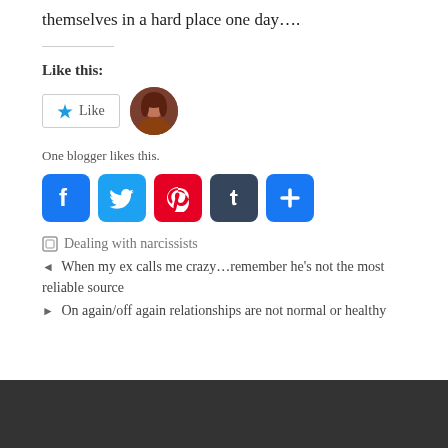themselves in a hard place one day….
Like this:
[Figure (other): Like button widget with star icon and blogger avatar thumbnail]
One blogger likes this.
[Figure (other): Social sharing buttons: Facebook, Twitter, Pinterest, Tumblr, More]
Dealing with narcissists
◄ When my ex calls me crazy…remember he's not the most reliable source
► On again/off again relationships are not normal or healthy